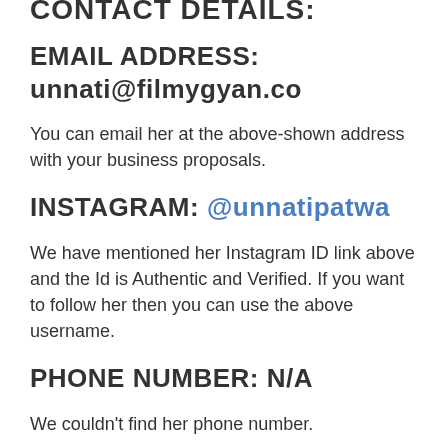CONTACT DETAILS:
EMAIL ADDRESS:
unnati@filmygyan.co
You can email her at the above-shown address with your business proposals.
INSTAGRAM: @unnatipatwa
We have mentioned her Instagram ID link above and the Id is Authentic and Verified. If you want to follow her then you can use the above username.
PHONE NUMBER: N/A
We couldn't find her phone number.